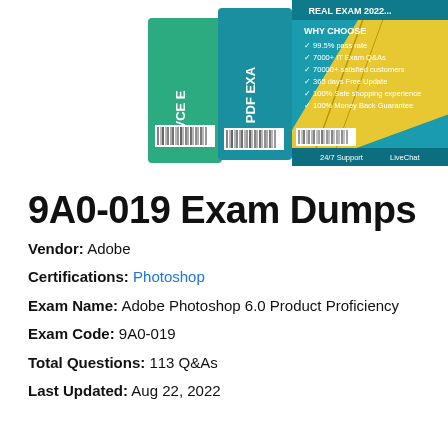[Figure (photo): Product box image showing VCE and PDF exam dump boxes with teal/green and yellow design, listing: 99.5% pass rate, 7000+ IT Exam Q&As, 70000+ satisfied customers, 365 days Free Update, 100% Safe shopping experience, 100% Money Back Guarantee, 24/7 Support, LiveChat]
9A0-019 Exam Dumps
Vendor: Adobe
Certifications: Photoshop
Exam Name: Adobe Photoshop 6.0 Product Proficiency
Exam Code: 9A0-019
Total Questions: 113 Q&As
Last Updated: Aug 22, 2022